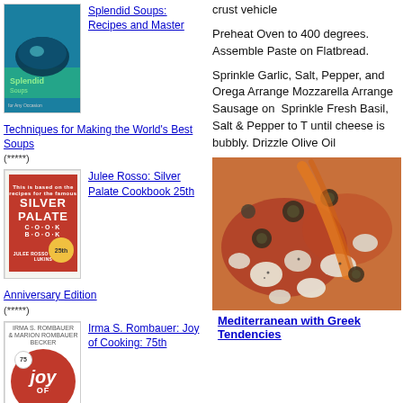[Figure (photo): Book cover of Splendid Soups with teal/blue background showing a bowl]
Splendid Soups: Recipes and Master
Techniques for Making the World's Best Soups
(*****)
[Figure (photo): Book cover of Silver Palate Cookbook 25th Anniversary Edition - red cover]
Julee Rosso: Silver Palate Cookbook 25th
Anniversary Edition
(*****)
[Figure (photo): Book cover of Joy of Cooking 75th - red circle with joy text]
Irma S. Rombauer: Joy of Cooking: 75th
crust vehicle
Preheat Oven to 400 degrees. Assemble Paste on Flatbread.
Sprinkle Garlic, Salt, Pepper, and Oreg... Arrange Mozzarella Arrange Sausage on... Sprinkle Fresh Basil, Salt & Pepper to T... until cheese is bubbly. Drizzle Olive Oil
[Figure (photo): Close-up photo of Mediterranean pizza with olives, mozzarella, and toppings on red sauce]
Mediterranean with Greek Tendencies